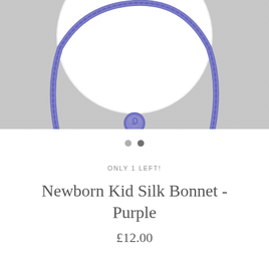[Figure (photo): Close-up photo of a white felted ball with a purple/lavender crocheted ring around it forming a bonnet shape, with a small crocheted flower/knot detail at the bottom, placed on a light grey fabric background.]
ONLY 1 LEFT!
Newborn Kid Silk Bonnet - Purple
£12.00